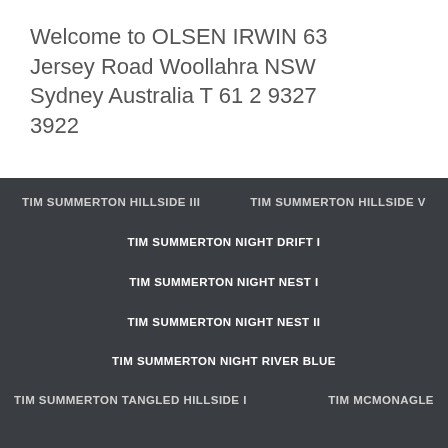Welcome to OLSEN IRWIN 63 Jersey Road Woollahra NSW Sydney Australia T 61 2 9327 3922
TIM SUMMERTON HILLSIDE III
TIM SUMMERTON HILLSIDE V
TIM SUMMERTON NIGHT DRIFT I
TIM SUMMERTON NIGHT NEST I
TIM SUMMERTON NIGHT NEST II
TIM SUMMERTON NIGHT RIVER BLUE
TIM SUMMERTON TANGLED HILLSIDE I
TIM MCMONAGLE